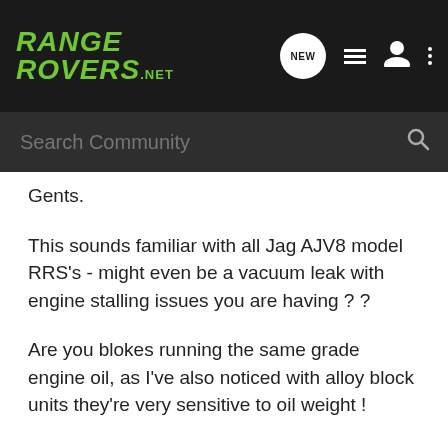RANGE ROVERS .NET — Search Community
Gents.
This sounds familiar with all Jag AJV8 model RRS's - might even be a vacuum leak with engine stalling issues you are having ? ?
Are you blokes running the same grade engine oil, as I've also noticed with alloy block units they're very sensitive to oil weight !
If a check engine light/reduced engine performance message is flashing there could also be problems with the oil pickup sensor.
Cheerio,